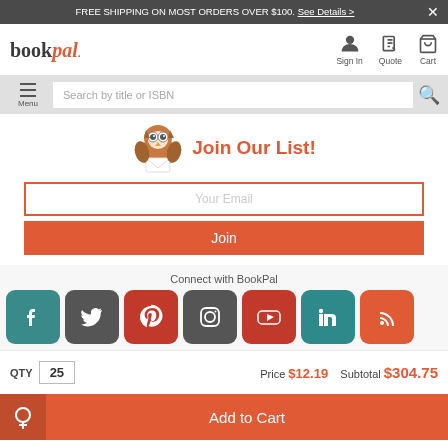FREE SHIPPING ON MOST ORDERS OVER $100. See Details >
[Figure (screenshot): BookPal logo with sign in, quote, and cart navigation icons]
Search by title or ISBN
[Figure (illustration): Owl mascot illustration]
Join Our List!
Your Email
Join
Connect with BookPal
[Figure (illustration): Social media icons: Facebook, Twitter, Pinterest, Instagram, YouTube, LinkedIn, RSS]
QTY 25   Price $12.19   Subtotal $304.75
Add to Cart